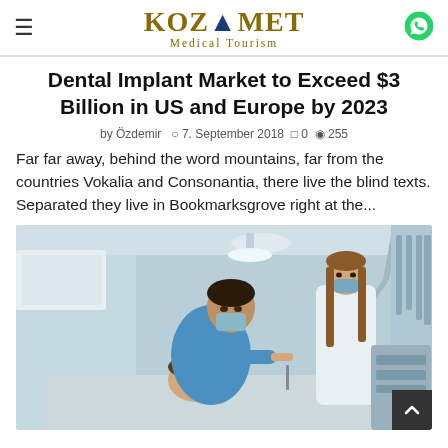KOZAMET Medical Tourism
Dental Implant Market to Exceed $3 Billion in US and Europe by 2023
by Özdemir  ⊙ 7. September 2018  ⊡ 0  ⊙ 255
Far far away, behind the word mountains, far from the countries Vokalia and Consonantia, there live the blind texts. Separated they live in Bookmarksgrove right at the...
[Figure (photo): Dental procedure: a male dentist in blue scrubs and face mask works on a patient while a female assistant in white stands behind, in a dental clinic setting with equipment visible.]